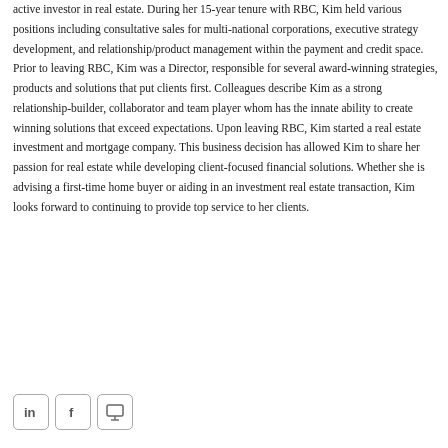active investor in real estate. During her 15-year tenure with RBC, Kim held various positions including consultative sales for multi-national corporations, executive strategy development, and relationship/product management within the payment and credit space. Prior to leaving RBC, Kim was a Director, responsible for several award-winning strategies, products and solutions that put clients first. Colleagues describe Kim as a strong relationship-builder, collaborator and team player whom has the innate ability to create winning solutions that exceed expectations. Upon leaving RBC, Kim started a real estate investment and mortgage company. This business decision has allowed Kim to share her passion for real estate while developing client-focused financial solutions. Whether she is advising a first-time home buyer or aiding in an investment real estate transaction, Kim looks forward to continuing to provide top service to her clients.
[Figure (other): Three social media / contact icon buttons in a row: LinkedIn, Facebook, and a monitor/screen icon.]